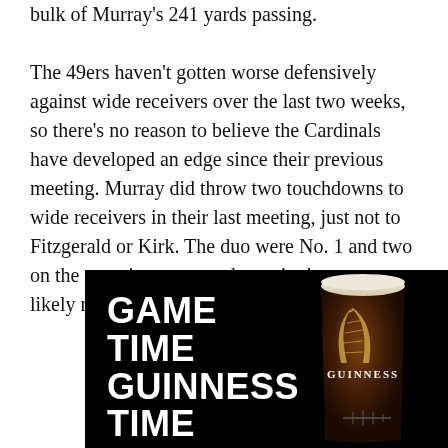bulk of Murray's 241 yards passing.

The 49ers haven't gotten worse defensively against wide receivers over the last two weeks, so there's no reason to believe the Cardinals have developed an edge since their previous meeting. Murray did throw two touchdowns to wide receivers in their last meeting, just not to Fitzgerald or Kirk. The duo were No. 1 and two on the team in targets and remain the two most likely receivers to have fantasy value.
[Figure (illustration): Guinness advertisement with black background. Large white bold text reads 'GAME TIME GUINNESS TIME' on the left. On the right is an image of a Guinness beer glass/pint with the Guinness harp logo visible on the glass.]